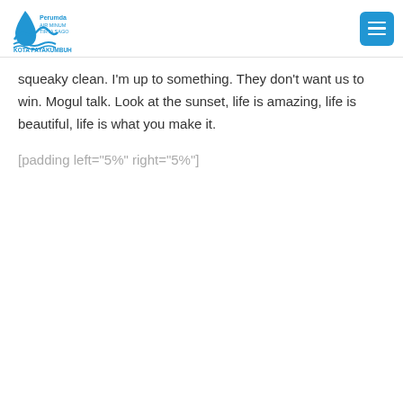Perumda Air Minum Tirta Sago Kota Payakumbuh
squeaky clean. I'm up to something. They don't want us to win. Mogul talk. Look at the sunset, life is amazing, life is beautiful, life is what you make it.
[padding left="5%" right="5%"]